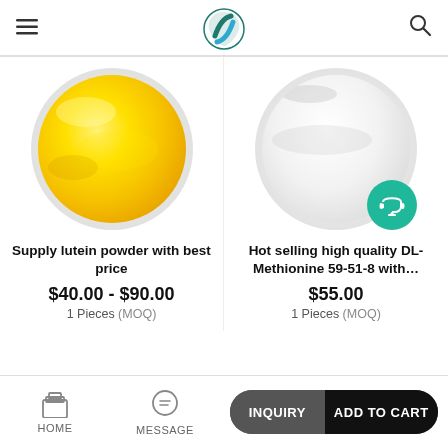[Figure (screenshot): E-commerce mobile app page showing two chemical/supplement products with images, prices, and MOQ info.]
[Figure (photo): Yellow powder (lutein) in a glass petri dish]
Supply lutein powder with best price
$40.00 - $90.00
1 Pieces (MOQ)
[Figure (photo): White powder (DL-Methionine) in a glass petri dish with a teal customer support badge]
Hot selling high quality DL-Methionine 59-51-8 with...
$55.00
1 Pieces (MOQ)
HOME | MESSAGE | INQUIRY | ADD TO CART